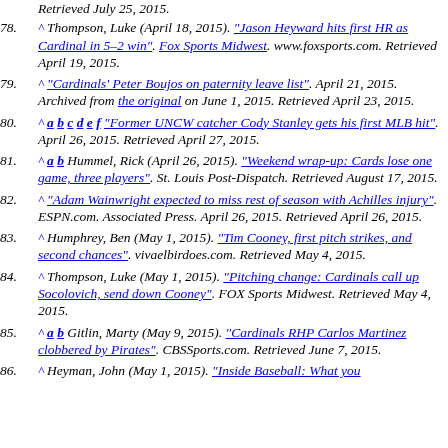Retrieved July 25, 2015.
78. ^ Thompson, Luke (April 18, 2015). "Jason Heyward hits first HR as Cardinal in 5–2 win". Fox Sports Midwest. www.foxsports.com. Retrieved April 19, 2015.
79. ^ "Cardinals' Peter Boujos on paternity leave list". April 21, 2015. Archived from the original on June 1, 2015. Retrieved April 23, 2015.
80. ^ a b c d e f "Former UNCW catcher Cody Stanley gets his first MLB hit". April 26, 2015. Retrieved April 27, 2015.
81. ^ a b Hummel, Rick (April 26, 2015). "Weekend wrap-up: Cards lose one game, three players". St. Louis Post-Dispatch. Retrieved August 17, 2015.
82. ^ "Adam Wainwright expected to miss rest of season with Achilles injury". ESPN.com. Associated Press. April 26, 2015. Retrieved April 26, 2015.
83. ^ Humphrey, Ben (May 1, 2015). "Tim Cooney, first pitch strikes, and second chances". vivaelbirdoes.com. Retrieved May 4, 2015.
84. ^ Thompson, Luke (May 1, 2015). "Pitching change: Cardinals call up Socolovich, send down Cooney". FOX Sports Midwest. Retrieved May 4, 2015.
85. ^ a b Gitlin, Marty (May 9, 2015). "Cardinals RHP Carlos Martinez clobbered by Pirates". CBSSports.com. Retrieved June 7, 2015.
86. ^ Heyman, John (May 1, 2015). "Inside Baseball: What you